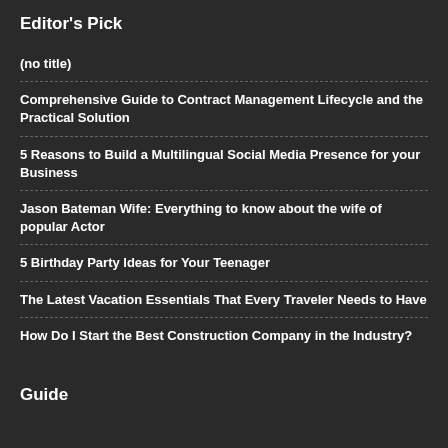Editor's Pick
(no title)
Comprehensive Guide to Contract Management Lifecycle and the Practical Solution
5 Reasons to Build a Multilingual Social Media Presence for your Business
Jason Bateman Wife: Everything to know about the wife of popular Actor
5 Birthday Party Ideas for Your Teenager
The Latest Vacation Essentials That Every Traveler Needs to Have
How Do I Start the Best Construction Company in the Industry?
Guide